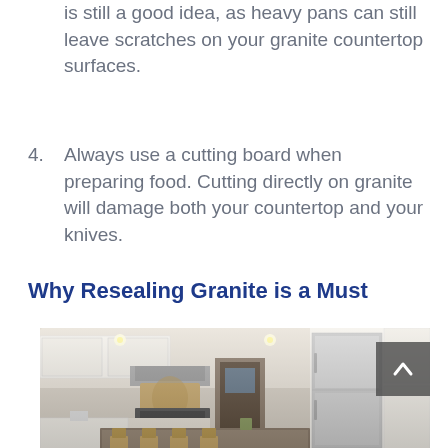is still a good idea, as heavy pans can still leave scratches on your granite countertop surfaces.
4. Always use a cutting board when preparing food. Cutting directly on granite will damage both your countertop and your knives.
Why Resealing Granite is a Must
[Figure (photo): Interior photo of a luxury kitchen with white cabinets, stainless steel appliances including a large refrigerator, granite countertop island with wooden chairs, and recessed lighting.]